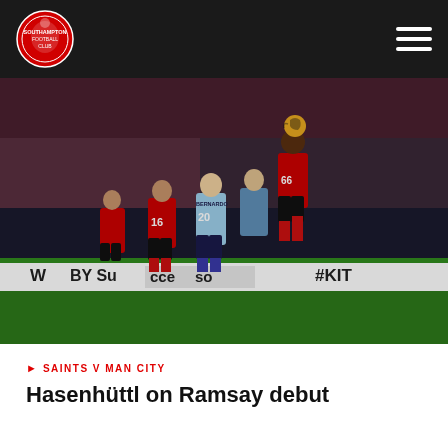Southampton FC
[Figure (photo): Football match action shot: Southampton vs Manchester City players heading a ball at St Mary's Stadium. Players visible include #16 and #20 (Bernardo). Red and white Southampton kits and blue/black Manchester City kits. Crowd in background. Pitch-side advertising boards showing 'BY Suárez' and '#KIT'.]
SAINTS V MAN CITY
Hasenhüttl on Ramsay debut